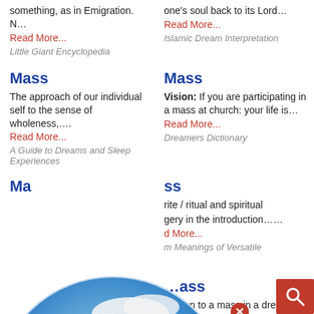something, as in Emigration. N…
Read More...
Little Giant Encyclopedia
one's soul back to its Lord…
Read More...
Islamic Dream Interpretation
Mass
The approach of our individual self to the sense of wholeness,….
Read More...
A Guide to Dreams and Sleep
Experiences
Mass
Vision: If you are participating in a mass at church: your life is…
Read More...
Dreamers Dictionary
Ma…
…ss
rite / ritual and spiritual
gery in the introduction……
d More...
m Meanings of Versatile
…ass
o listen to a mass in a dream
reveals the arrival of a period
Read More...
[Figure (logo): Dream Encyclopedia globe logo with blue sky and clouds, with text 'Dream Encyclopedia']